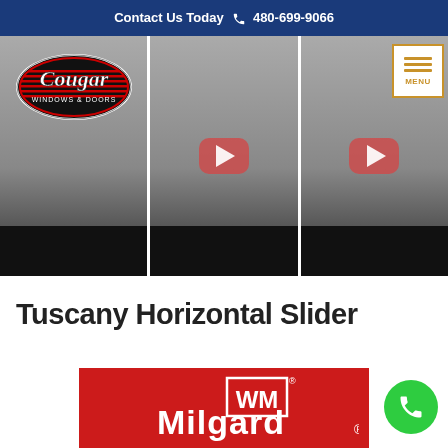Contact Us Today 📞 480-699-9066
[Figure (screenshot): Three side-by-side video thumbnails of a man in a gray polo shirt. First thumbnail shows the Cougar Windows & Doors logo. Second and third thumbnails show a red YouTube play button. Third thumbnail has a MENU button overlay in the top right corner. All thumbnails have dark black bars at the bottom.]
Tuscany Horizontal Slider
[Figure (logo): Milgard logo on a red background with white text reading Milgard and the stylized WM logo above it.]